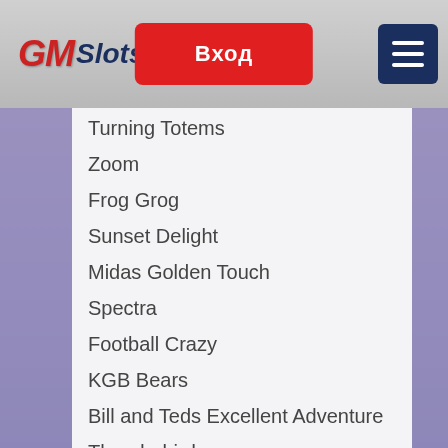GMSlots | Вход
Turning Totems
Zoom
Frog Grog
Sunset Delight
Midas Golden Touch
Spectra
Football Crazy
KGB Bears
Bill and Teds Excellent Adventure
Thunderbirds